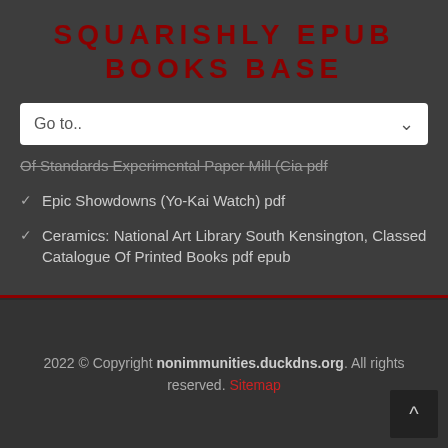SQUARISHLY EPUB BOOKS BASE
[Figure (screenshot): Navigation dropdown selector showing 'Go to..' with arrow]
Of Standards Experimental Paper Mill (Cia pdf
Epic Showdowns (Yo-Kai Watch) pdf
Ceramics: National Art Library South Kensington, Classed Catalogue Of Printed Books pdf epub
2022 © Copyright nonimmunities.duckdns.org. All rights reserved. Sitemap